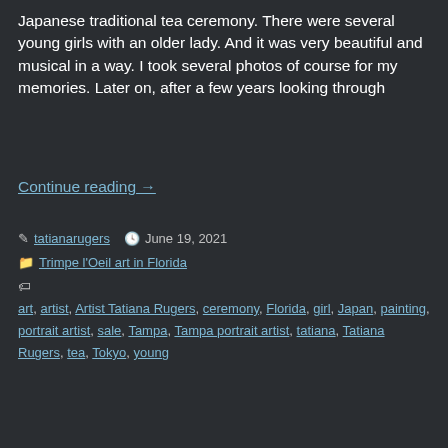Japanese traditional tea ceremony. There were several young girls with an older lady. And it was very beautiful and musical in a way. I took several photos of course for my memories. Later on, after a few years looking through
Continue reading →
tatianarugers   June 19, 2021   Trimpe l'Oeil art in Florida   art, artist, Artist Tatiana Rugers, ceremony, Florida, girl, Japan, painting, portrait artist, sale, Tampa, Tampa portrait artist, tatiana, Tatiana Rugers, tea, Tokyo, young